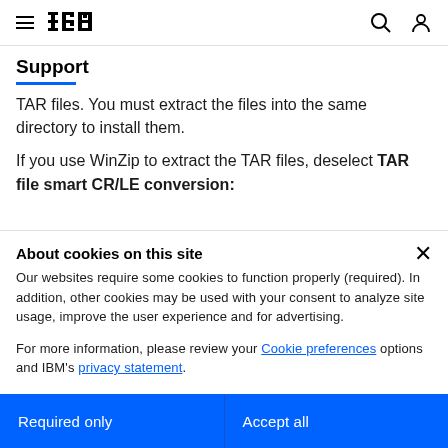IBM Support
TAR files. You must extract the files into the same directory to install them.

If you use WinZip to extract the TAR files, deselect TAR file smart CR/LE conversion:
About cookies on this site
Our websites require some cookies to function properly (required). In addition, other cookies may be used with your consent to analyze site usage, improve the user experience and for advertising.

For more information, please review your Cookie preferences options and IBM's privacy statement.